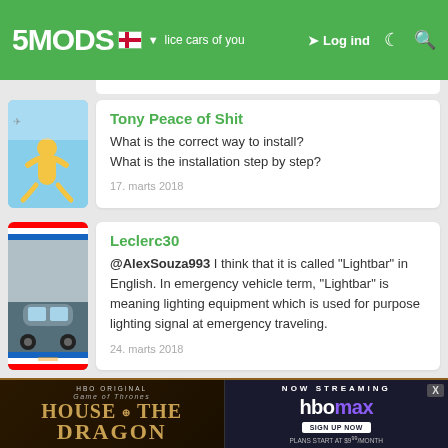5MODS — Log ind
Tony Peace of Shit
What is the correct way to install?
What is the installation step by step?
17. marts 2018
Leclerc30
@AlexSouza993 I think that it is called "Lightbar" in English. In emergency vehicle term, "Lightbar" is meaning lighting equipment which is used for purpose lighting signal at emergency traveling.
24. marts 2018
PhilattoF
Nice addon pls <3
[Figure (screenshot): House of the Dragon HBO Max advertisement banner]